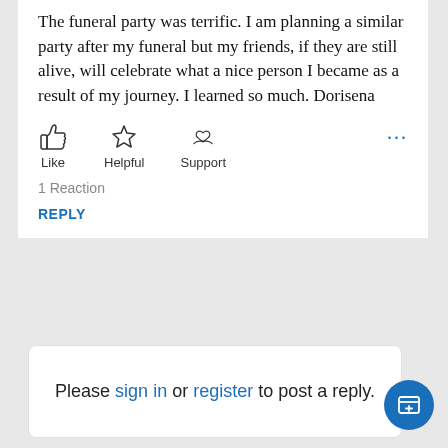The funeral party was terrific. I am planning a similar party after my funeral but my friends, if they are still alive, will celebrate what a nice person I became as a result of my journey. I learned so much. Dorisena
[Figure (infographic): Row of reaction buttons: Like (thumbs up icon), Helpful (star icon), Support (heart-in-hand icon), and a blue ellipsis more button]
1 Reaction
REPLY
Please sign in or register to post a reply.